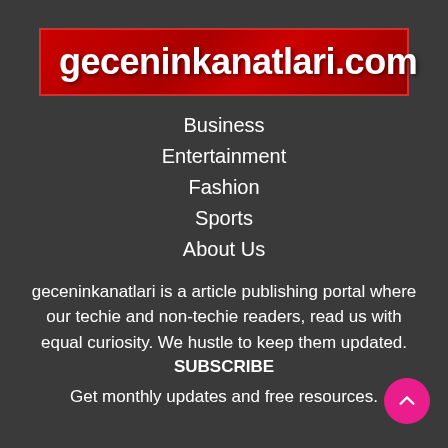[Figure (logo): Red banner logo with white bold text reading geceninkanatlari.com on a red gradient background with a thin red border]
Business
Entertainment
Fashion
Sports
About Us
geceninkanatlari is a article publishing portal where our techie and non-techie readers, read us with equal curiosity. We hustle to keep them updated.
SUBSCRIBE
Get monthly updates and free resources.